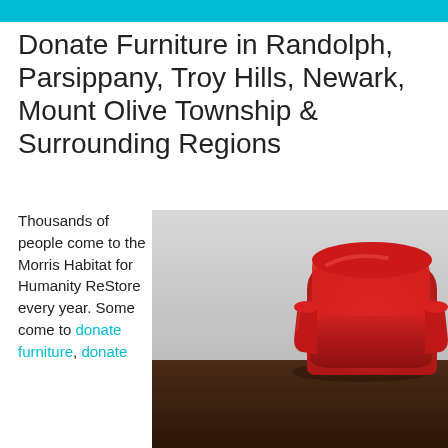Donate Furniture in Randolph, Parsippany, Troy Hills, Newark, Mount Olive Township & Surrounding Regions
Thousands of people come to the Morris Habitat for Humanity ReStore every year. Some come to donate furniture, donate appliances, donate other items, while others come to purchase…
[Figure (photo): A red leather armchair positioned against a light grey wall on a dark hardwood floor]